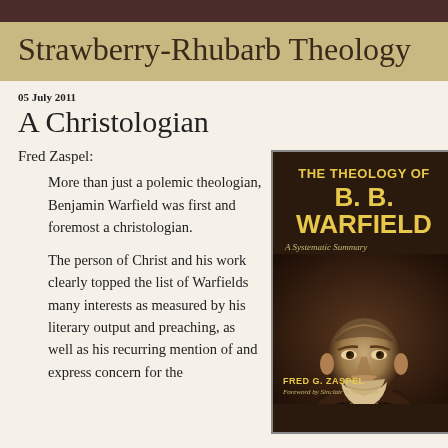Strawberry-Rhubarb Theology
A Christologian
05 July 2011
Fred Zaspel:
More than just a polemic theologian, Benjamin Warfield was first and foremost a christologian.
The person of Christ and his work clearly topped the list of Warfields many interests as measured by his literary output and preaching, as well as his recurring mention of and express concern for the
[Figure (photo): Book cover of 'The Theology of B. B. Warfield: A Systematic Summary' by Fred G. Zaspel, showing title in gold text on dark brown background with a sepia portrait photo of B. B. Warfield]